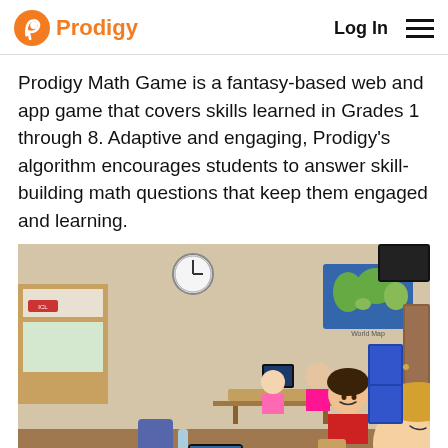Prodigy | Log In
Prodigy Math Game is a fantasy-based web and app game that covers skills learned in Grades 1 through 8. Adaptive and engaging, Prodigy's algorithm encourages students to answer skill-building math questions that keep them engaged and learning.
[Figure (photo): Classroom photo showing several elementary school girls sitting at desks with tablets, smiling at the camera. A world map is visible on the wall in the background, along with a bulletin board and other classroom decorations.]